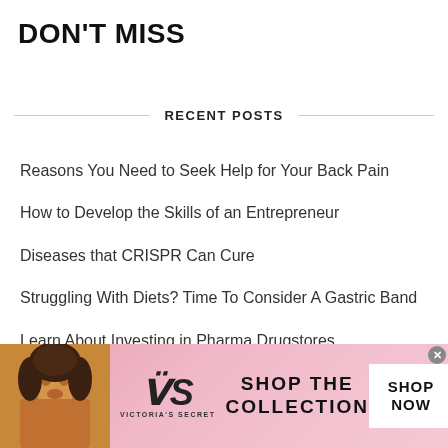DON'T MISS
RECENT POSTS
Reasons You Need to Seek Help for Your Back Pain
How to Develop the Skills of an Entrepreneur
Diseases that CRISPR Can Cure
Struggling With Diets? Time To Consider A Gastric Band
Learn About Investing in Pharma Drugstores
CATEGORIES
[Figure (photo): Victoria's Secret advertisement banner with a woman model, VS logo, 'SHOP THE COLLECTION' text, and 'SHOP NOW' button]